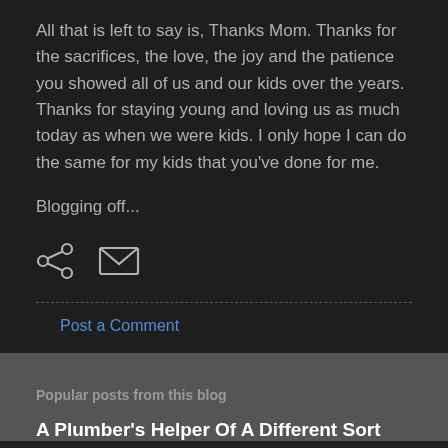All that is left to say is, Thanks Mom. Thanks for the sacrifices, the love, the joy and the patience you showed all of us and our kids over the years. Thanks for staying young and loving us as much today as when we were kids. I only hope I can do the same for my kids that you've done for me.
Blogging off...
[Figure (infographic): Share icon (two connected nodes) and email/envelope icon displayed side by side]
Post a Comment
Popular posts from this blog
A Plumber's Helper Of A Different Sort